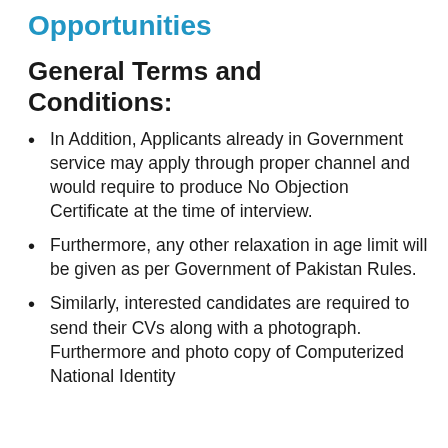Opportunities
General Terms and Conditions:
In Addition, Applicants already in Government service may apply through proper channel and would require to produce No Objection Certificate at the time of interview.
Furthermore, any other relaxation in age limit will be given as per Government of Pakistan Rules.
Similarly, interested candidates are required to send their CVs along with a photograph. Furthermore and photo copy of Computerized National Identity